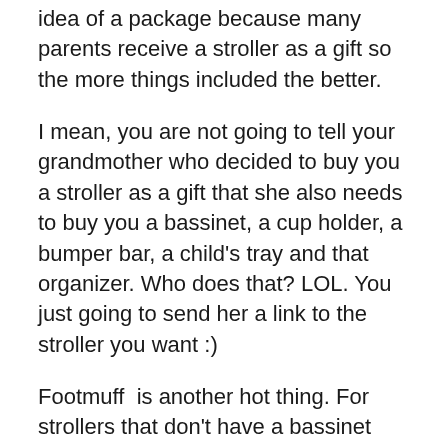idea of a package because many parents receive a stroller as a gift so the more things included the better.
I mean, you are not going to tell your grandmother who decided to buy you a stroller as a gift that she also needs to buy you a bassinet, a cup holder, a bumper bar, a child's tray and that organizer. Who does that? LOL. You just going to send her a link to the stroller you want :)
Footmuff  is another hot thing. For strollers that don't have a bassinet option, many companies make footmuffs which get inserted right into the seat. Stokke Scoot V2 is one of the strollers you can see it in. The footmuff protects baby form cold weather and creates bassinet like